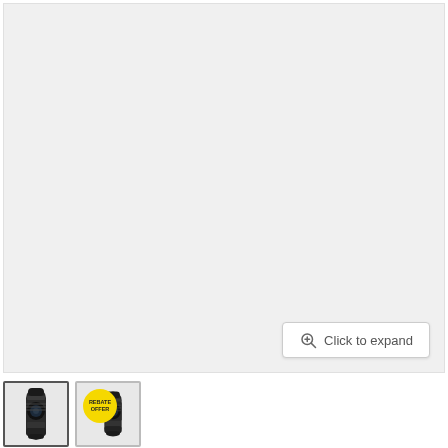[Figure (photo): Large product image area showing a camera lens on a light gray background. The main display area is mostly empty/gray as the product image is not loaded or visible at this zoom.]
[Figure (photo): Thumbnail 1: A dark camera telephoto zoom lens standing upright on white background. Selected thumbnail with darker border.]
[Figure (photo): Thumbnail 2: Same dark camera telephoto zoom lens with a yellow circular 'REBATE OFFER' badge overlaid in the top-left corner.]